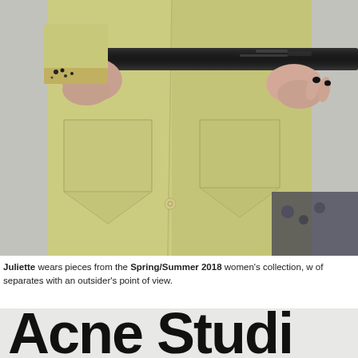[Figure (photo): Close-up fashion photograph of a person wearing a yellow-green coat with large front pockets and a black leather belt, hands visible at waist level, against a grey background.]
Juliette wears pieces from the Spring/Summer 2018 women's collection, w of separates with an outsider's point of view.
[Figure (logo): Acne Studios brand logo text, large bold black letters on light grey background, partially cropped showing 'Acne Studi']